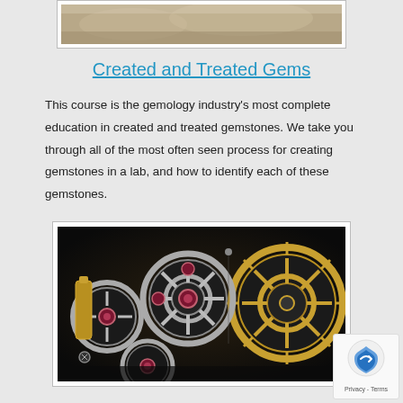[Figure (photo): Partial view of an image at the top of the page, showing earthy/rocky textures in muted tones]
Created and Treated Gems
This course is the gemology industry's most complete education in created and treated gemstones. We take you through all of the most often seen process for creating gemstones in a lab, and how to identify each of these gemstones.
[Figure (photo): Close-up photograph of intricate watch movement gears and mechanisms with ruby jewels (bearings), showing silver and gold-colored metal components on a dark background]